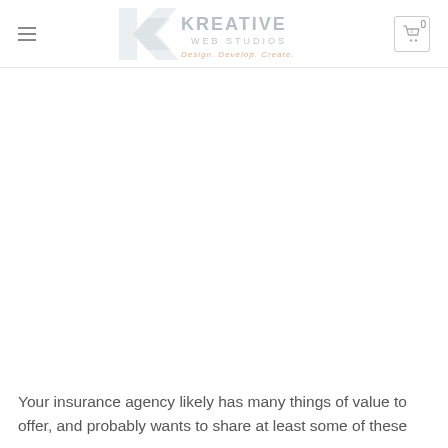Kreative Web Studios — Design. Develop. Create.
Your insurance agency likely has many things of value to offer, and probably wants to share at least some of these